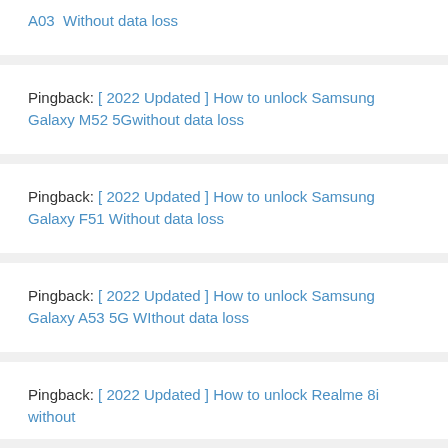A03  Without data loss
Pingback: [ 2022 Updated ] How to unlock Samsung Galaxy M52 5Gwithout data loss
Pingback: [ 2022 Updated ] How to unlock Samsung Galaxy F51 Without data loss
Pingback: [ 2022 Updated ] How to unlock Samsung Galaxy A53 5G WIthout data loss
Pingback: [ 2022 Updated ] How to unlock Realme 8i without